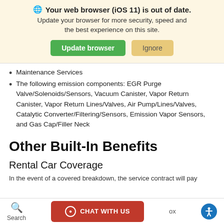[Figure (screenshot): Browser update notification banner with globe icon, bold warning text 'Your web browser (iOS 11) is out of date.', subtitle text, green 'Update browser' button and tan 'Ignore' button]
Maintenance Services
The following emission components: EGR Purge Valve/Solenoids/Sensors, Vacuum Canister, Vapor Return Canister, Vapor Return Lines/Valves, Air Pump/Lines/Valves, Catalytic Converter/Filtering/Sensors, Emission Vapor Sensors, and Gas Cap/Filler Neck
Other Built-In Benefits
Rental Car Coverage
In the event of a covered breakdown, the service contract will pay
Search  CHAT WITH US  ox  [accessibility icon]